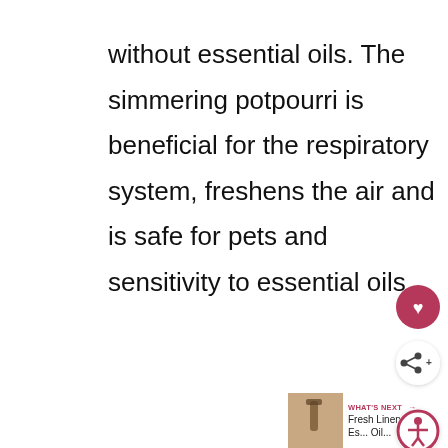without essential oils. The simmering potpourri is beneficial for the respiratory system, freshens the air and is safe for pets and sensitivity to essential oils.
[Figure (screenshot): UI overlay with heart (favorite) button in dark pink, a share button, a 'WHAT'S NEXT' navigation card showing a thumbnail and text 'Fresh Linen Es...oil...', and an accessibility button.]